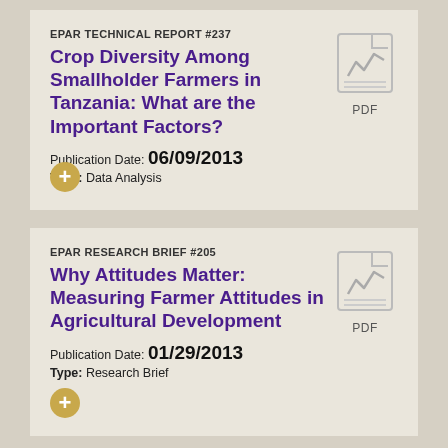EPAR TECHNICAL REPORT #237
Crop Diversity Among Smallholder Farmers in Tanzania: What are the Important Factors?
Publication Date: 06/09/2013
Type: Data Analysis
[Figure (other): PDF document icon with chart symbol]
EPAR RESEARCH BRIEF #205
Why Attitudes Matter: Measuring Farmer Attitudes in Agricultural Development
Publication Date: 01/29/2013
Type: Research Brief
[Figure (other): PDF document icon with chart symbol]